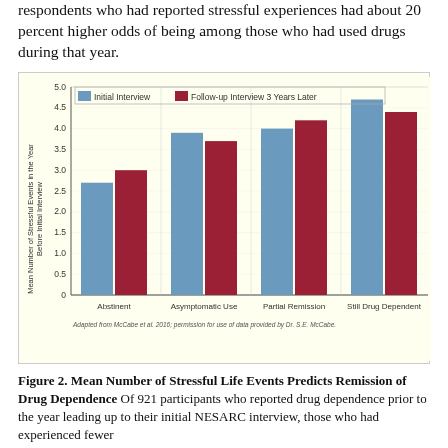respondents who had reported stressful experiences had about 20 percent higher odds of being among those who had used drugs during that year.
[Figure (grouped-bar-chart): ]
Figure 2. Mean Number of Stressful Life Events Predicts Remission of Drug Dependence Of 921 participants who reported drug dependence prior to the year leading up to their initial NESARC interview, those who had experienced fewer